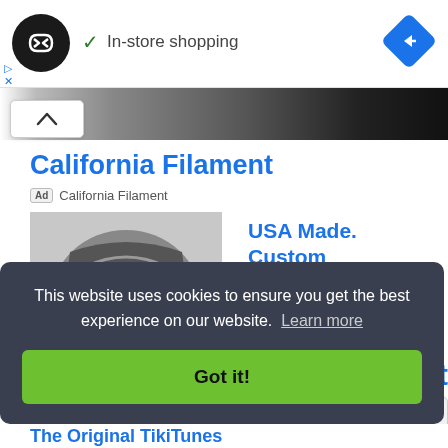[Figure (screenshot): Black circle logo with infinity-like arrow symbol, followed by green checkmark and 'In-store shopping' text, and a blue diamond navigation icon on the right]
In-store shopping
[Figure (photo): Partial product image strip at top showing dark colored items]
California Filament
Ad  California Filament
[Figure (photo): Product photo showing what appears to be a dark bag or case opened to reveal contents]
USA Made. Custom Engineering.
Ad  The Zippertubing Company
This website uses cookies to ensure you get the best experience on our website.  Learn more
Got it!
The Original TikiTunes